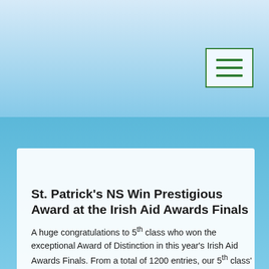[Figure (other): Navigation menu button with three horizontal lines (hamburger icon), green border on light blue background]
St. Patrick’s NS Win Prestigious Award at the Irish Aid Awards Finals
A huge congratulations to 5th class who won the exceptional Award of Distinction in this year’s Irish Aid Awards Finals. From a total of 1200 entries, our 5th class’ project ‘Caring For Our World’ based on issue of Climate Change, reached the final 12. All pupils and their Principal/ Teacher Ms. Byrne attended a fantastic ceremony in Dublin Castle where the current Rose of Tralee, Maria Walsh presented each child with a medal and a school crystal trophy for reaching the final 12.